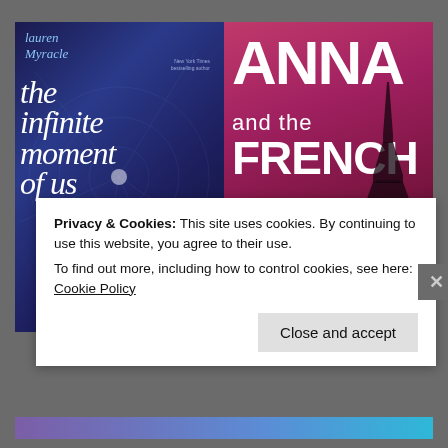[Figure (photo): Two book covers side by side. Left: 'the infinite moment of us' by Lauren Myracle (dark blue starry background with a couple silhouette). Right: 'ANNA and the FRENCH KISS' (dark pink/maroon background with Eiffel Tower, labeled 'AN INTERNATIONAL BESTSELLER').]
Privacy & Cookies: This site uses cookies. By continuing to use this website, you agree to their use.
To find out more, including how to control cookies, see here: Cookie Policy
Close and accept